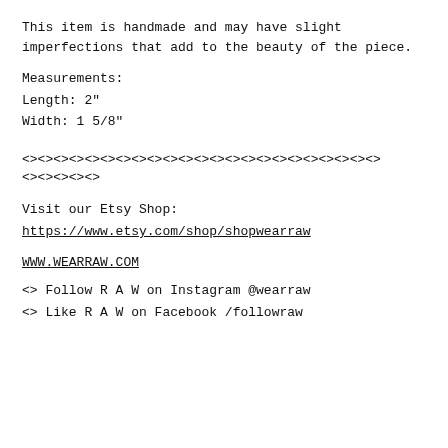This item is handmade and may have slight imperfections that add to the beauty of the piece.
Measurements:
Length: 2"
Width: 1 5/8"
<><><><><><><><><><><><><><><><><><><><><><>
<><><><><>
Visit our Etsy Shop:
https://www.etsy.com/shop/shopwearraw
WWW.WEARRAW.COM
<> Follow R A W on Instagram @wearraw
<> Like R A W on Facebook /followraw